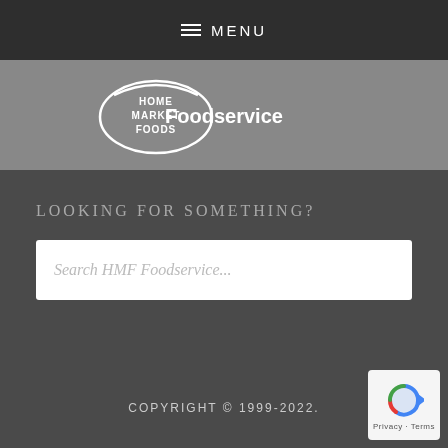≡ MENU
[Figure (logo): Home Market Foods Foodservice logo — white oval with HOME MARKET FOODS text inside, followed by Foodservice text, on grey background]
LOOKING FOR SOMETHING?
Search HMF Foodservice...
COPYRIGHT © 1999-2022.